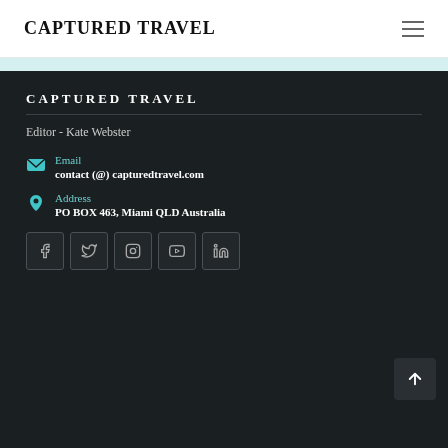CAPTURED TRAVEL
CAPTURED TRAVEL
Editor - Kate Webster
Email
contact (@) capturedtravel.com
Address
PO BOX 463, Miami QLD Australia